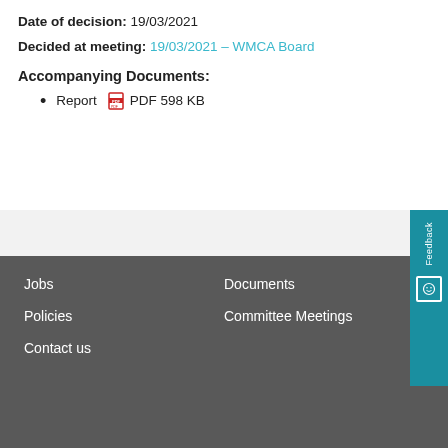Date of decision: 19/03/2021
Decided at meeting: 19/03/2021 – WMCA Board
Accompanying Documents:
Report  PDF 598 KB
Jobs  Documents  Policies  Committee Meetings  Contact us